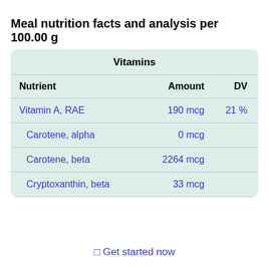Meal nutrition facts and analysis per 100.00 g
| Nutrient | Amount | DV |
| --- | --- | --- |
| Vitamin A, RAE | 190 mcg | 21 % |
| Carotene, alpha | 0 mcg |  |
| Carotene, beta | 2264 mcg |  |
| Cryptoxanthin, beta | 33 mcg |  |
⊡ Get started now